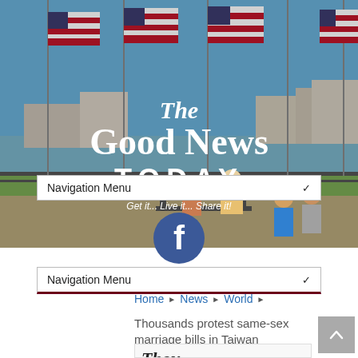[Figure (photo): Outdoor waterfront scene with American flags, people sitting on a bench and standing, with 'The Good News Today' newspaper masthead overlaid. Subtitle reads 'Get it... Live it... Share it!']
The Good News TODAY
Get it... Live it... Share it!
Navigation Menu
[Figure (logo): Facebook logo circle icon]
Navigation Menu
Home ▶ News ▶ World ▶
Thousands protest same-sex marriage bills in Taiwan